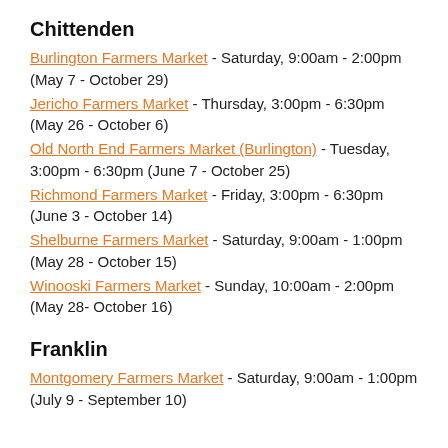Chittenden
Burlington Farmers Market - Saturday, 9:00am - 2:00pm (May 7 - October 29)
Jericho Farmers Market - Thursday, 3:00pm - 6:30pm (May 26 - October 6)
Old North End Farmers Market (Burlington) - Tuesday, 3:00pm - 6:30pm (June 7 - October 25)
Richmond Farmers Market - Friday, 3:00pm - 6:30pm (June 3 - October 14)
Shelburne Farmers Market - Saturday, 9:00am - 1:00pm (May 28 - October 15)
Winooski Farmers Market - Sunday, 10:00am - 2:00pm (May 28- October 16)
Franklin
Montgomery Farmers Market - Saturday, 9:00am - 1:00pm (July 9  - September 10)